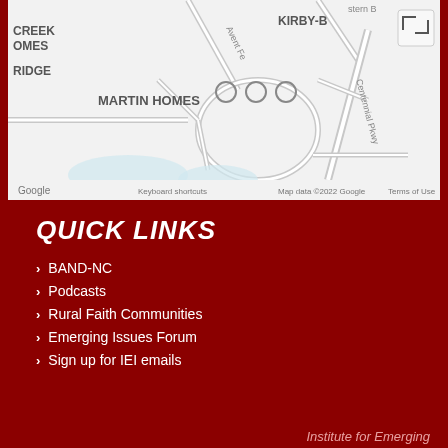[Figure (map): Google Maps screenshot showing Martin Homes neighborhood area with Kirby-B label visible, Centennial Pkwy, three circular markers, Google logo, and footer text 'Keyboard shortcuts  Map data ©2022 Google  Terms of Use']
QUICK LINKS
BAND-NC
Podcasts
Rural Faith Communities
Emerging Issues Forum
Sign up for IEI emails
Institute for Emerging